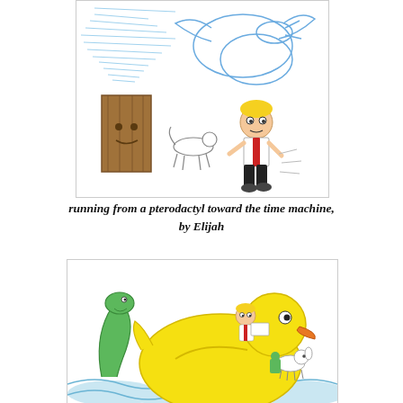[Figure (illustration): Child's drawing of a boy running from a pterodactyl toward a time machine (depicted as a wooden box). A small dog runs alongside. Blue scribbled sky in background with cloud-like pterodactyl shapes. The boy has yellow hair and wears red and black. A brown rectangular time machine with a face is on the left.]
running from a pterodactyl toward the time machine, by Elijah
[Figure (illustration): Child's drawing of a boy with yellow hair riding a large yellow rubber duck on blue water. A green Loch Ness monster rises on the left. A small white dog and a small green figure are on the duck's back. The boy leans forward with a determined expression.]